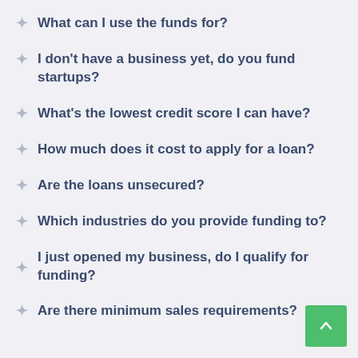What can I use the funds for?
I don't have a business yet, do you fund startups?
What's the lowest credit score I can have?
How much does it cost to apply for a loan?
Are the loans unsecured?
Which industries do you provide funding to?
I just opened my business, do I qualify for funding?
Are there minimum sales requirements?